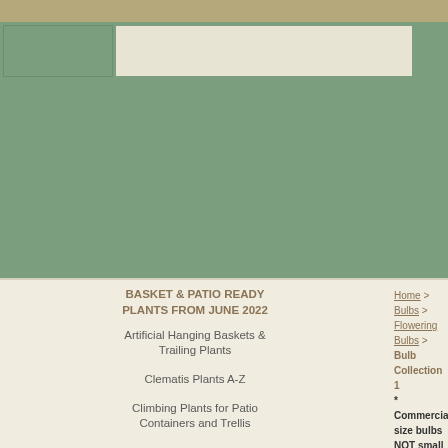[Figure (screenshot): Green hero/banner area with navigation bar containing left dark block, center beige/cream block, and right dark block]
BASKET & PATIO READY PLANTS FROM JUNE 2022
Artificial Hanging Baskets & Trailing Plants
Clematis Plants A-Z
Climbing Plants for Patio Containers and Trellis
Evergreen Climbing Plants
Home > Bulbs > Flowering Bulbs > Bulb Collection 1
* Commercial size bulbs NOT small pre-packs*
Bulb Collection 1 - Narcissus 'Thalia' x... Commercial size bulbs NOT small pre-...